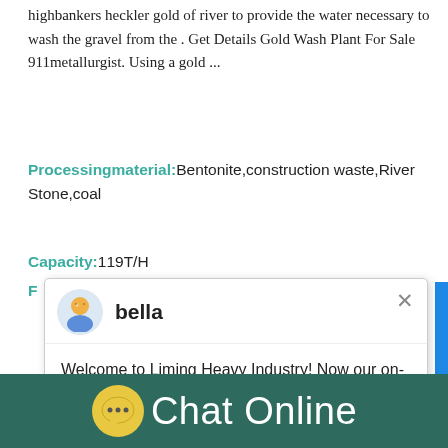highbankers heckler gold of river to provide the water necessary to wash the gravel from the . Get Details Gold Wash Plant For Sale 911metallurgist. Using a gold ...
Processingmaterial:Bentonite,construction waste,River Stone,coal
Capacity:119T/H
F
[Figure (screenshot): Chat popup overlay with avatar icon and name 'bella', message: Welcome to Liming Heavy Industry! Now our on-line service is chatting with you! please choose: 1.English. Close X button visible. Blue notification badge with number 1. 'Click me to chat>>' button in light blue.]
[Figure (photo): Factory building exterior with industrial machinery equipment in foreground, gray/blue tones, orange stripe on building.]
Chat Online